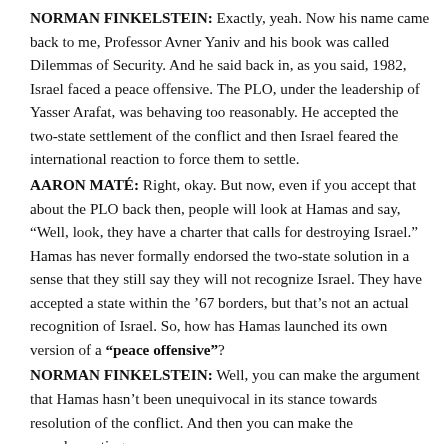NORMAN FINKELSTEIN: Exactly, yeah. Now his name came back to me, Professor Avner Yaniv and his book was called Dilemmas of Security. And he said back in, as you said, 1982, Israel faced a peace offensive. The PLO, under the leadership of Yasser Arafat, was behaving too reasonably. He accepted the two-state settlement of the conflict and then Israel feared the international reaction to force them to settle.
AARON MATÉ: Right, okay. But now, even if you accept that about the PLO back then, people will look at Hamas and say, “Well, look, they have a charter that calls for destroying Israel.” Hamas has never formally endorsed the two-state solution in a sense that they still say they will not recognize Israel. They have accepted a state within the ’67 borders, but that’s not an actual recognition of Israel. So, how has Hamas launched its own version of a “pace offensive”?
NORMAN FINKELSTEIN: Well, you can make the argument that Hamas hasn’t been unequivocal in its stance towards resolution of the conflict. And then you can make the complementing